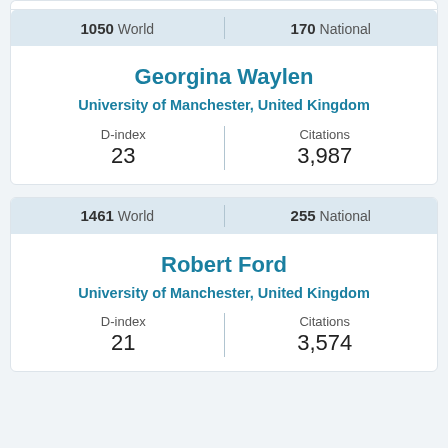| Rank | Value |
| --- | --- |
| 1050 World | 170 National |
Georgina Waylen
University of Manchester, United Kingdom
| D-index | Citations |
| --- | --- |
| 23 | 3,987 |
| Rank | Value |
| --- | --- |
| 1461 World | 255 National |
Robert Ford
University of Manchester, United Kingdom
| D-index | Citations |
| --- | --- |
| 21 | 3,574 |